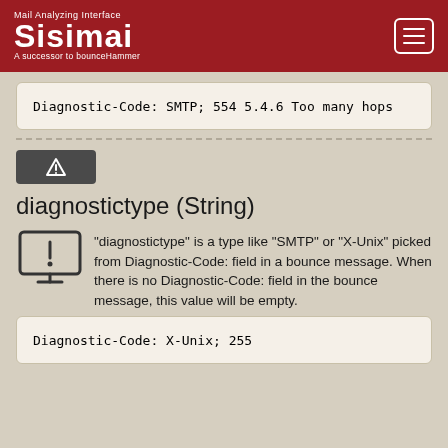Sisimai — Mail Analyzing Interface — A successor to bounceHammer
Diagnostic-Code: SMTP; 554 5.4.6 Too many hops
[Figure (other): Warning/alert icon badge (dark grey background with triangle warning symbol)]
diagnostictype (String)
"diagnostictype" is a type like "SMTP" or "X-Unix" picked from Diagnostic-Code: field in a bounce message. When there is no Diagnostic-Code: field in the bounce message, this value will be empty.
Diagnostic-Code: X-Unix; 255